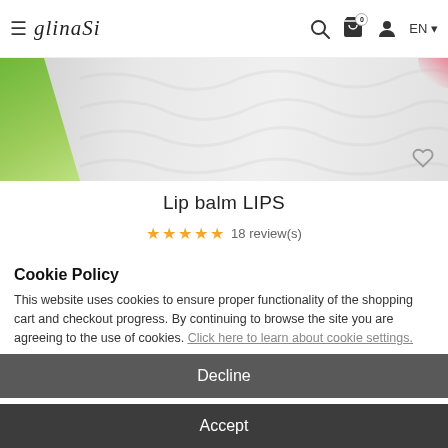glinaSi — EN | navigation icons
[Figure (photo): Product image showing a white embossed decorative surface with a green leaf on the left side and a heart-outline icon in the bottom right corner]
Lip balm LIPS
★★★★★ 18 review(s)
Cookie Policy
This website uses cookies to ensure proper functionality of the shopping cart and checkout progress. By continuing to browse the site you are agreeing to the use of cookies. Click here to learn about cookie settings.
Decline
Accept